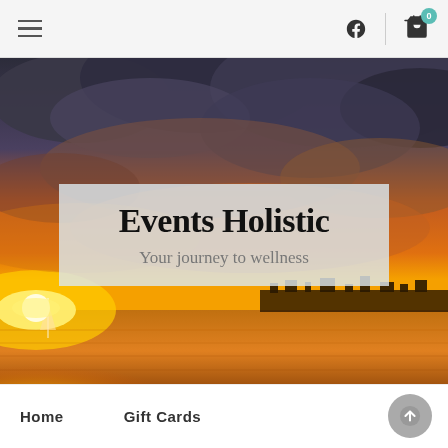Navigation header with hamburger menu, Facebook icon, and cart icon with badge 0
[Figure (photo): Dramatic sunset over a waterfront with orange and golden sky, storm clouds above, city silhouette on the horizon. Overlay box with text 'Events Holistic' and 'Your journey to wellness'.]
Events Holistic
Your journey to wellness
Home   Gift Cards